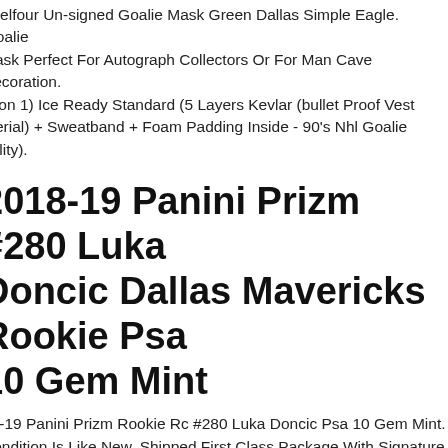l Belfour Un-signed Goalie Mask Green Dallas Simple Eagle. (goalie Mask Perfect For Autograph Collectors Or For Man Cave Decoration. otion 1) Ice Ready Standard (5 Layers Kevlar (bullet Proof Vest aterial) + Sweatband + Foam Padding Inside - 90's Nhl Goalie uality).
2018-19 Panini Prizm #280 Luka Doncic Dallas Mavericks Rookie Psa 10 Gem Mint
18-19 Panini Prizm Rookie Rc #280 Luka Doncic Psa 10 Gem Mint. Condition Is Like New. Shipped First Class Package With Signature Confirmation And Insurance.
72 Topps #200 Roger Staubach Psa 7 Near Mint Rookie Rc Hof Dallas Cowboys Navy. The Card Pictured Is The Exact Card You Will Receive.
Chanel 14 Dallas Romeo Dia...